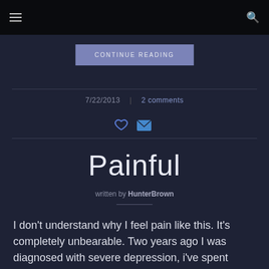≡  [search icon]
CONTINUE READING
7/22/2013  |  2 comments
[Figure (illustration): Heart icon (like) and envelope icon (message)]
Painful
written by HunterBrown
I don't understand why I feel pain like this. It's completely unbearable. Two years ago I was diagnosed with severe depression, i've spent these